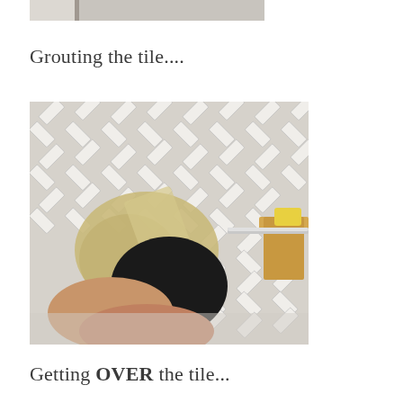[Figure (photo): Partial view of a white herringbone tile installation, top of photo cropped]
Grouting the tile....
[Figure (photo): A person wearing a black glove applying grout to white herringbone mosaic tile wall using a rubber float. A wooden shelf bracket and metal bar are visible on the right side. Grout is spread across the tile surface.]
Getting OVER the tile...